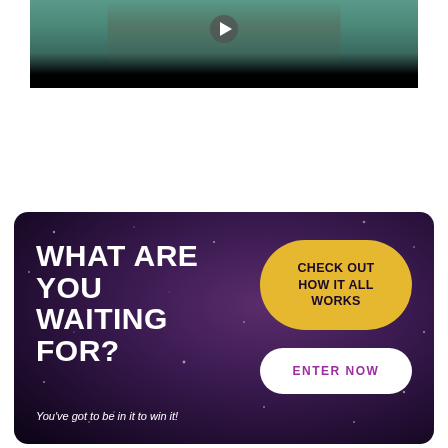[Figure (screenshot): Video player showing a person in a coat on a street, with a play button overlay and black letterbox bar at bottom]
[Figure (infographic): Dark purple promotional banner with sparkle/star background. Large bold white text reads 'WHAT ARE YOU WAITING FOR?' with tagline 'You've got to be in it to win it!' on the left. Two buttons on the right: yellow rounded button 'CHECK OUT HOW IT ALL WORKS' and white rounded button 'ENTER NOW' in purple text.]